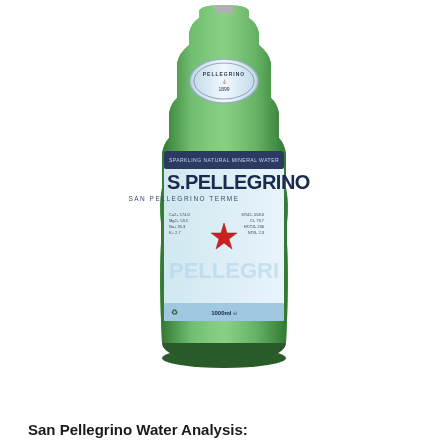[Figure (photo): A green glass bottle of S. Pellegrino sparkling natural mineral water, 1000ml. The bottle has a white oval label near the neck and a larger label in the middle showing the S. PELLEGRINO brand name in dark blue letters, a red star, and text reading SAN PELLEGRINO TERME. The label also shows mineral content information and the volume 1000ml.]
San Pellegrino Water Analysis: